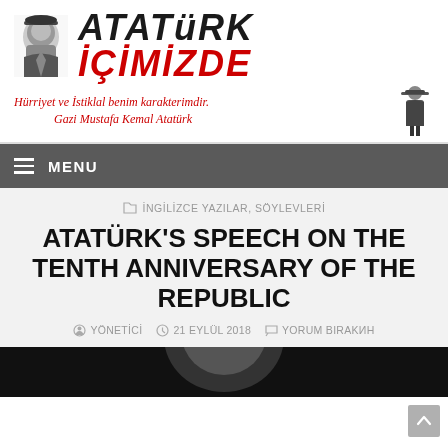[Figure (logo): Atatürk İçimizde website logo with stylized portrait of Atatürk on left, bold text 'ATATÜRK' in black and 'İÇİMİZDE' in red on right]
Hürriyet ve İstiklal benim karakterimdir. Gazi Mustafa Kemal Atatürk
MENU
İNGİLİZCE YAZILAR, SÖYLEVLERİ
ATATÜRK'S SPEECH ON THE TENTH ANNIVERSARY OF THE REPUBLIC
YÖNETİCİ   21 EYLÜL 2018   YORUM BIRAKИН
[Figure (photo): Black and white photo of Atatürk at the bottom of the page, partially visible]